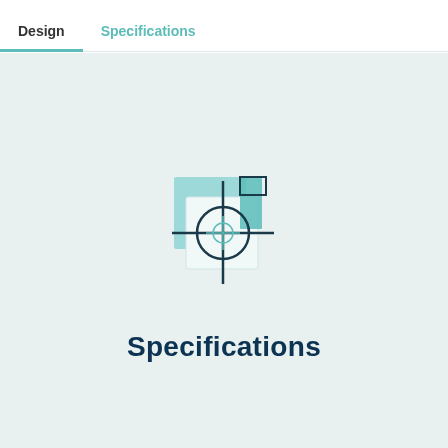Design  Specifications
[Figure (illustration): Engineering/design icon showing a drafting crosshair target circle overlaid on geometric shapes (rectangle and L-bracket lines), rendered in teal and dark teal colors on a light teal background]
Specifications